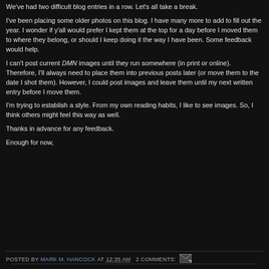We've had two difficult blog entries in a row. Let's all take a break.
I've been placing some older photos on this blog. I have many more to add to fill out the year. I wonder if y'all would prefer I kept them at the top for a day before I moved them to where they belong, or should I keep doing it the way I have been. Some feedback would help.
I can't post current DMN images until they run somewhere (in print or online). Therefore, I'll always need to place them into previous posts later (or move them to the date I shot them). However, I could post images and leave them until my next written entry before I move them.
I'm trying to establish a style. From my own reading habits, I like to see images. So, I think others might feel this way as well.
Thanks in advance for any feedback.
Enough for now,
POSTED BY MARK M. HANCOCK AT 12:35 AM  2 COMMENTS: